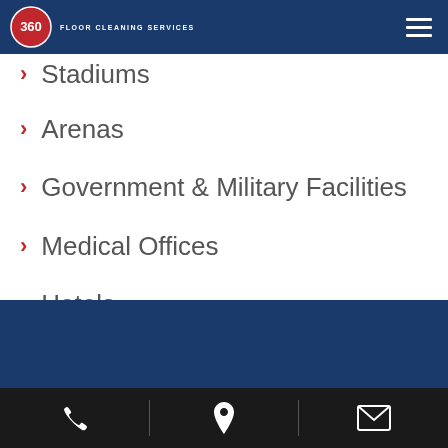360 Floor Cleaning Services
Stadiums
Arenas
Government & Military Facilities
Medical Offices
Hotels
Phone | Location | Email